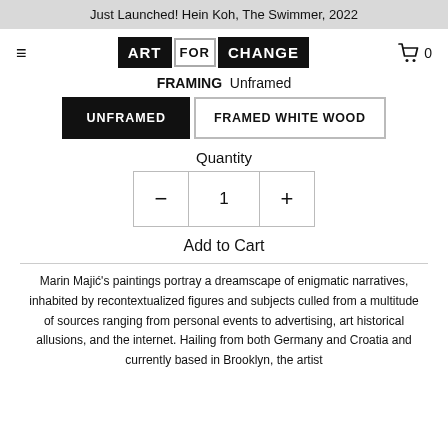Just Launched! Hein Koh, The Swimmer, 2022
[Figure (logo): Art For Change logo with hamburger menu and cart icon]
FRAMING  Unframed
UNFRAMED   FRAMED WHITE WOOD
Quantity
- 1 +
Add to Cart
Marin Majić's paintings portray a dreamscape of enigmatic narratives, inhabited by recontextualized figures and subjects culled from a multitude of sources ranging from personal events to advertising, art historical allusions, and the internet. Hailing from both Germany and Croatia and currently based in Brooklyn, the artist